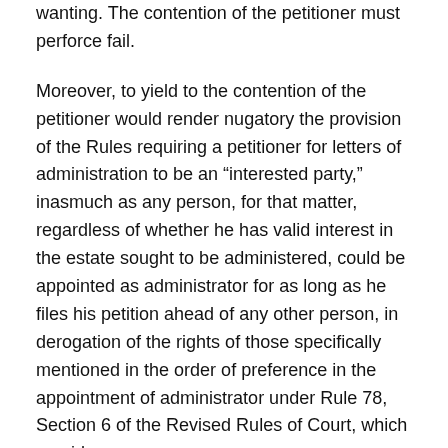wanting. The contention of the petitioner must perforce fail.
Moreover, to yield to the contention of the petitioner would render nugatory the provision of the Rules requiring a petitioner for letters of administration to be an “interested party,” inasmuch as any person, for that matter, regardless of whether he has valid interest in the estate sought to be administered, could be appointed as administrator for as long as he files his petition ahead of any other person, in derogation of the rights of those specifically mentioned in the order of preference in the appointment of administrator under Rule 78, Section 6 of the Revised Rules of Court, which provides:
xxx          xxx          xxx
The petitioner, armed with a marriage certificate, filed her petition for letters of administration. As a spouse, the